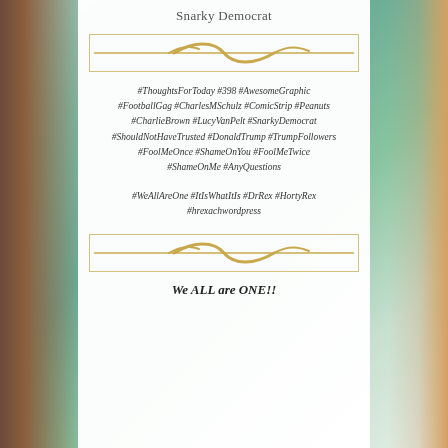Snarky Democrat
[Figure (illustration): Decorative gold wavy line divider inside a rectangular border]
#ThoughtsForToday #398 #AwesomeGraphic #FootballGag #CharlesMSchulz #ComicStrip #Peanuts #CharlieBrown #LucyVanPelt #SnarkyDemocrat #ShouldNotHaveTrusted #DonaldTrump #TrumpFollowers #FoolMeOnce #ShameOnYou #FoolMeTwice #ShameOnMe #AnyQuestions
#WeAllAreOne #ItIsWhatItIs #DrRex #HortyRex #hrexachwordpress
[Figure (illustration): Decorative gold wavy line divider inside a rectangular border]
We ALL are ONE!!